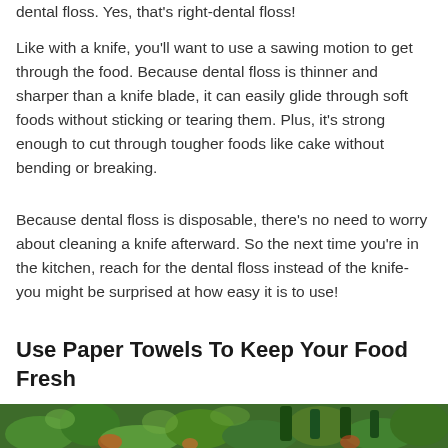dental floss. Yes, that's right-dental floss!
Like with a knife, you'll want to use a sawing motion to get through the food. Because dental floss is thinner and sharper than a knife blade, it can easily glide through soft foods without sticking or tearing them. Plus, it's strong enough to cut through tougher foods like cake without bending or breaking.
Because dental floss is disposable, there's no need to worry about cleaning a knife afterward. So the next time you're in the kitchen, reach for the dental floss instead of the knife-you might be surprised at how easy it is to use!
Use Paper Towels To Keep Your Food Fresh
[Figure (photo): A photo of fresh vegetables and produce including green vegetables and bottles in the background]